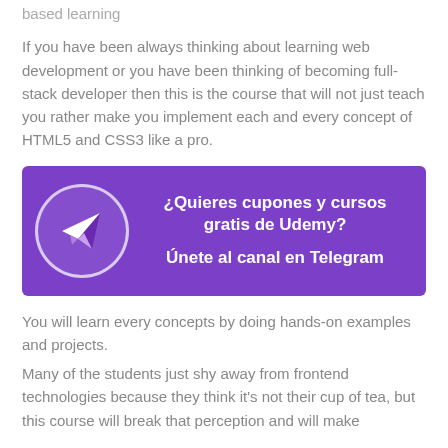based learning
If you have been always thinking about learning web development or you have been thinking of becoming full-stack developer then this is the course that will not just teach you rather make you implement each and every concept of HTML5 and CSS3 like a pro.
[Figure (infographic): Purple banner with Telegram logo icon in a circle on the left and text on the right: '¿Quieres cupones y cursos gratis de Udemy?' and 'Únete al canal en Telegram']
You will learn every concepts by doing hands-on examples and projects.
Many of the students just shy away from frontend technologies because they think it's not their cup of tea, but this course will break that perception and will make